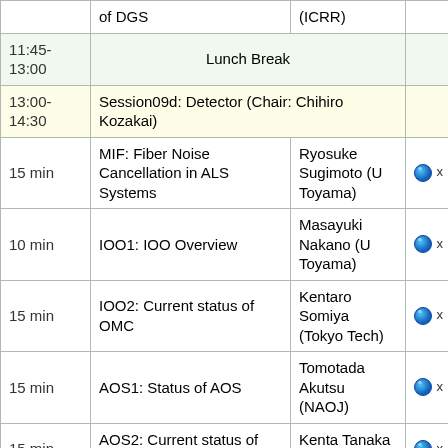| Time | Session/Talk | Speaker | Links |
| --- | --- | --- | --- |
|  | of DGS | (ICRR) |  |
| 11:45-13:00 | Lunch Break |  |  |
| 13:00-14:30 | Session09d: Detector (Chair: Chihiro Kozakai) |  |  |
| 15 min | MIF: Fiber Noise Cancellation in ALS Systems | Ryosuke Sugimoto (U Toyama) | 🌐 x |
| 10 min | IOO1: IOO Overview | Masayuki Nakano (U Toyama) | 🌐 x |
| 15 min | IOO2: Current status of OMC | Kentaro Somiya (Tokyo Tech) | 🌐 x |
| 15 min | AOS1: Status of AOS | Tomotada Akutsu (NAOJ) | 🌐 x |
| 15 min | AOS2: Current status of TMS | Kenta Tanaka (ICRR) | 🌐 x |
|  | LAS: Current status of | Toshiya |  |